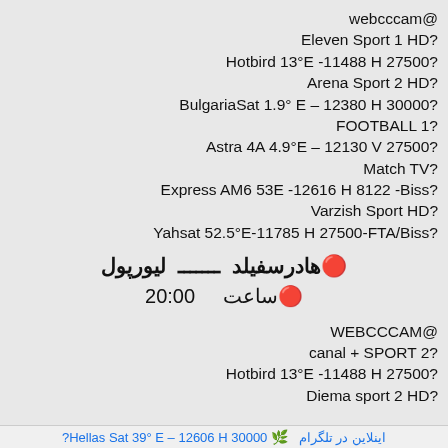webcccam@
Eleven Sport 1 HD?
Hotbird 13°E -11488 H 27500?
Arena Sport 2 HD?
BulgariaSat 1.9° E – 12380 H 30000?
FOOTBALL 1?
Astra 4A 4.9°E – 12130 V 27500?
Match TV?
Express AM6 53E -12616 H 8122 -Biss?
Varzish Sport HD?
Yahsat 52.5°E-11785 H 27500-FTA/Biss?
🔴هادرسفیلد ـــــــ لیورپول
🔴ساعت    20:00
WEBCCCAM@
canal + SPORT 2?
Hotbird 13°E -11488 H 27500?
Diema sport 2 HD?
🌿 Hellas Sat  39° E – 12606 H 30000?  اینلاین در تلگرام